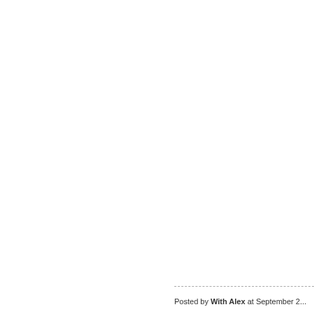[Figure (photo): Photo of a woman with blonde wavy hair wearing a purple/blue top, holding a baby. The photo has a hot pink border and is displayed in a white card with drop shadow.]
Disclaim
Posted by With Alex at September 2...